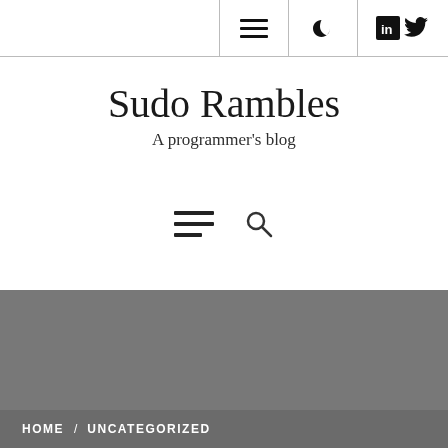Navigation bar with menu, dark mode, LinkedIn and Twitter icons
Sudo Rambles
A programmer's blog
[Figure (other): Menu (hamburger) and search icon bar]
[Figure (other): Grey hero/banner section]
HOME / UNCATEGORIZED